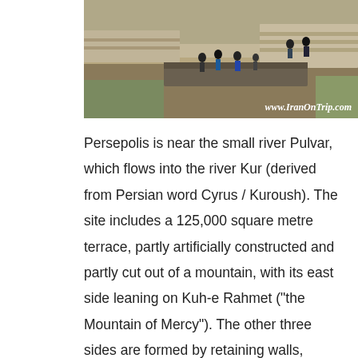[Figure (photo): Outdoor photo of Persepolis archaeological site showing ruins, stone terraces, and several people walking among the ruins. Watermark reads www.IranOnTrip.com in the bottom-right corner.]
Persepolis is near the small river Pulvar, which flows into the river Kur (derived from Persian word Cyrus / Kuroush). The site includes a 125,000 square metre terrace, partly artificially constructed and partly cut out of a mountain, with its east side leaning on Kuh-e Rahmet ("the Mountain of Mercy"). The other three sides are formed by retaining walls, which vary in height with the slope of the ground. From 5 to 13 metres on the west side a double stair. From there it gently slopes to the top. To create the level terrace, depressions were filled with soil and heavy rocks, which were joined together with metal clips.Around 519 BC,